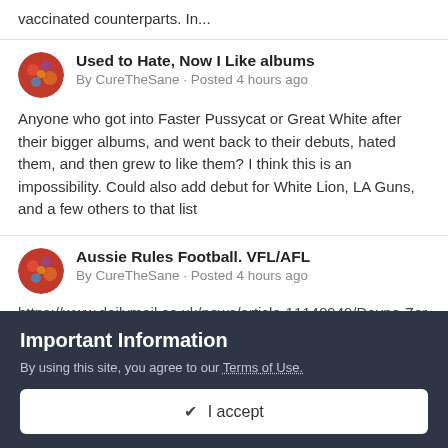vaccinated counterparts. In...
Used to Hate, Now I Like albums
By CureTheSane · Posted 4 hours ago
Anyone who got into Faster Pussycat or Great White after their bigger albums, and went back to their debuts, hated them, and then grew to like them? I think this is an impossibility. Could also add debut for White Lion, LA Guns, and a few others to that list
Aussie Rules Football. VFL/AFL
By CureTheSane · Posted 4 hours ago
https://www.dailymail.co.uk/news/article-11140949/Dayne-Zorkos-ex-wife-Kalinda-Salla-
Important Information
By using this site, you agree to our Terms of Use.
✔ I accept